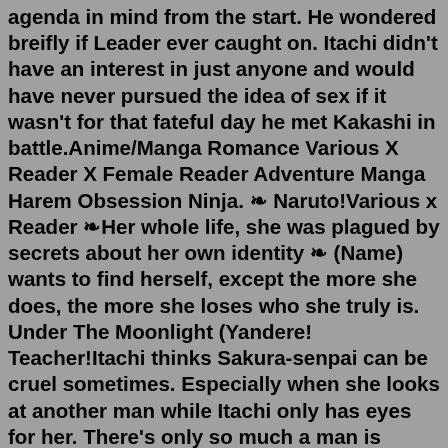agenda in mind from the start. He wondered breifly if Leader ever caught on. Itachi didn't have an interest in just anyone and would have never pursued the idea of sex if it wasn't for that fateful day he met Kakashi in battle.Anime/Manga Romance Various X Reader X Female Reader Adventure Manga Harem Obsession Ninja. ❧ Naruto!Various x Reader ❧Her whole life, she was plagued by secrets about her own identity ❧ (Name) wants to find herself, except the more she does, the more she loses who she truly is. Under The Moonlight (Yandere! Teacher!Itachi thinks Sakura-senpai can be cruel sometimes. Especially when she looks at another man while Itachi only has eyes for her. There's only so much a man is willing to take and in the end, Itachi is only a man. How the dynamics between Itachi and Sakura could change if she was around Shisui's age.Asked Shikamaru as he turned to the blonde who was still eating his ramen. "Oh well things have been going well for me" The Blonde said taking another slurp of his ramen. "That's great" said shikamaru when he was eating ramen. "For now